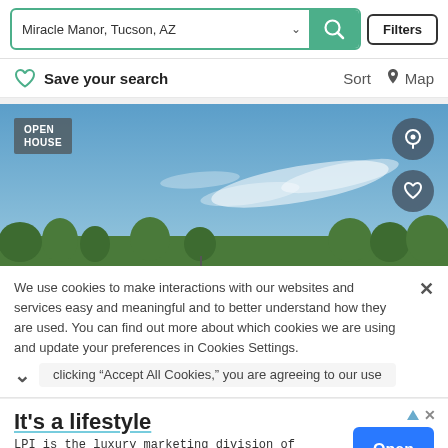Miracle Manor, Tucson, AZ
Filters
Save your search
Sort  Map
[Figure (photo): Property listing photo showing blue sky with wispy clouds and tops of green trees, with OPEN HOUSE badge in upper left and map pin and heart icon buttons on the right.]
We use cookies to make interactions with our websites and services easy and meaningful and to better understand how they are used. You can find out more about which cookies we are using and update your preferences in Cookies Settings. clicking “Accept All Cookies,” you are agreeing to our use
It's a lifestyle
LPI is the luxury marketing division of Leading Real Estate Companies of the World® Luxury Portfolio Int.
Open